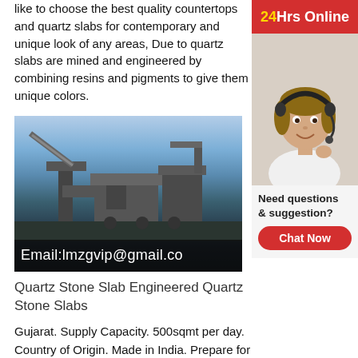like to choose the best quality countertops and quartz slabs for contemporary and unique look of any areas, Due to quartz slabs are mined and engineered by combining resins and pigments to give them unique colors.
[Figure (photo): Industrial machinery / stone slab processing equipment photographed outdoors against a sky background. Overlay text reads: Email:lmzgvip@gmail.co]
Quartz Stone Slab Engineered Quartz Stone Slabs
Gujarat. Supply Capacity. 500sqmt per day. Country of Origin. Made in India. Prepare for the majestic beauty brought to your spaces by our collection of Engineered Quartz. This is a highly dense product and very close to natural granite. Engineered Quartz is
[Figure (infographic): 24Hrs Online banner with customer service agent wearing headset, and chat widget with 'Need questions & suggestion?' and 'Chat Now' button]